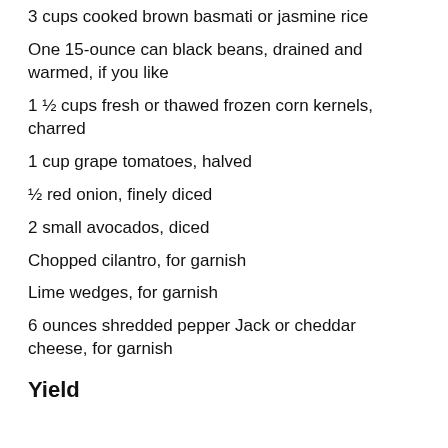3 cups cooked brown basmati or jasmine rice
One 15-ounce can black beans, drained and warmed, if you like
1 ½ cups fresh or thawed frozen corn kernels, charred
1 cup grape tomatoes, halved
½ red onion, finely diced
2 small avocados, diced
Chopped cilantro, for garnish
Lime wedges, for garnish
6 ounces shredded pepper Jack or cheddar cheese, for garnish
Yield